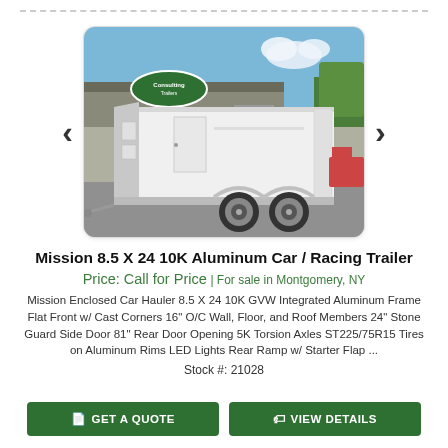[Figure (photo): Photo of a white enclosed car/racing trailer parked in front of a dealer building. Large white box trailer with dual axles, aluminum rims, rear ramp door visible. Dealership building with green oval logo sign in background.]
Mission 8.5 X 24 10K Aluminum Car / Racing Trailer
Price: Call for Price | For sale in Montgomery, NY
Mission Enclosed Car Hauler 8.5 X 24 10K GVW Integrated Aluminum Frame Flat Front w/ Cast Corners 16" O/C Wall, Floor, and Roof Members 24" Stone Guard Side Door 81" Rear Door Opening 5K Torsion Axles ST225/75R15 Tires on Aluminum Rims LED Lights Rear Ramp w/ Starter Flap ...
Stock #: 21028
GET A QUOTE
VIEW DETAILS